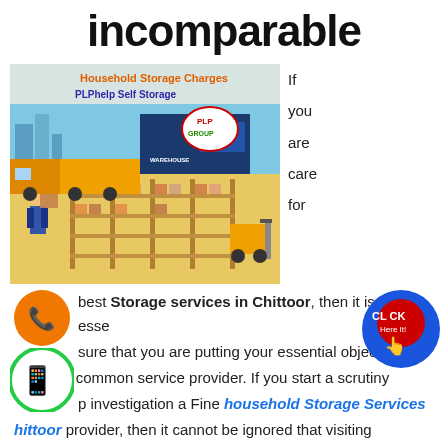incomparable
[Figure (illustration): Household Storage Charges PLPhelp Self Storage promotional image with warehouse, trucks, forklifts, workers in a warehouse with PLP Group logo]
If you are care for household Storage services in Chittoor, then it is essential to sure that you are putting your essential objects in hands of common service provider. If you start a scrutiny to investigation a Fine household Storage Services Chittoor provider, then it cannot be ignored that visiting several offices of the household Storage Services in